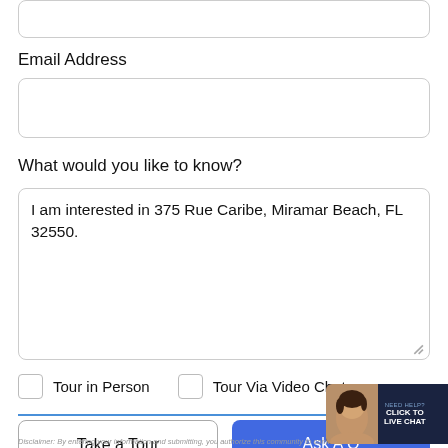Email Address
What would you like to know?
I am interested in 375 Rue Caribe, Miramar Beach, FL 32550.
Tour in Person
Tour Via Video Chat
Take a Tour
Ask A Q
Disclaimer: By entering your information and submitting, you authorize this community to...
NEED HELP? CLICK TO LIVE CHAT